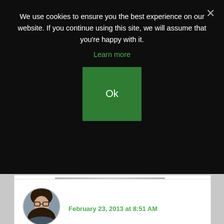We use cookies to ensure you the best experience on our website. If you continue using this site, we will assume that you're happy with it.
Learn more
Ok
February 23, 2013 at 8:51 AM
I think a great name is a great name … even if it has an arachnid inspiration. 🙂
Reply